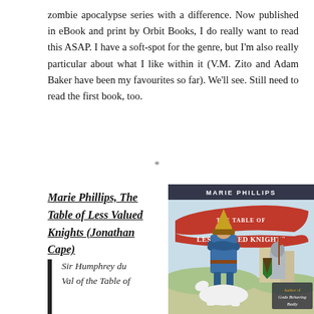zombie apocalypse series with a difference. Now published in eBook and print by Orbit Books, I do really want to read this ASAP. I have a soft-spot for the genre, but I'm also really particular about what I like within it (V.M. Zito and Adam Baker have been my favourites so far). We'll see. Still need to read the first book, too.
*
Marie Phillips, The Table of Less Valued Knights (Jonathan Cape)
[Figure (illustration): Book cover of 'The Table of Less Valued Knights' by Marie Phillips (Jonathan Cape). Features a medieval illustration of a knight in blue tunic and yellow hat with arms crossed, standing in front of a mounted knight with shield and helmet. A large red banner/ribbon across the cover reads 'THE TABLE OF LESS VALUED KNIGHTS'. Text at top reads 'MARIE PHILLIPS'. Bottom right reads 'Author of Gods Behaving Badly'.]
Sir Humphrey du... Val of the Table of...